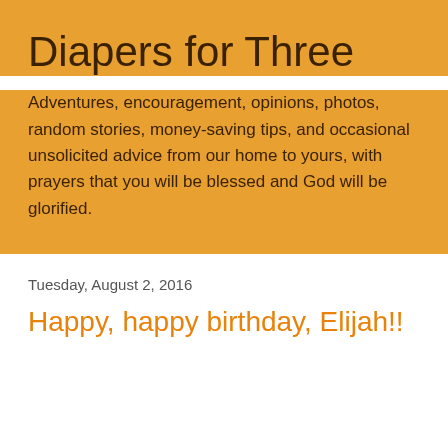Diapers for Three
Adventures, encouragement, opinions, photos, random stories, money-saving tips, and occasional unsolicited advice from our home to yours, with prayers that you will be blessed and God will be glorified.
Tuesday, August 2, 2016
Happy, happy birthday, Elijah!!